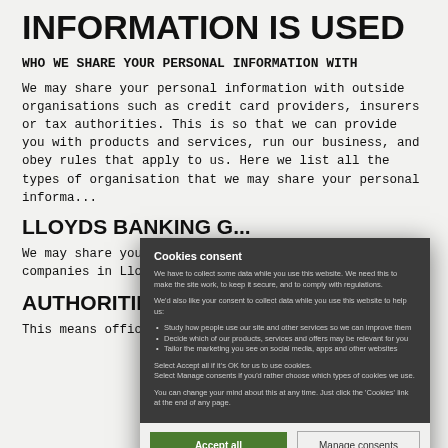INFORMATION IS USED
WHO WE SHARE YOUR PERSONAL INFORMATION WITH
We may share your personal information with outside organisations such as credit card providers, insurers or tax authorities. This is so that we can provide you with products and services, run our business, and obey rules that apply to us. Here we list all the types of organisation that we may share your personal informa...
LLOYDS BANKING G...
We may share your pe... companies in Lloyds B...
AUTHORITIES
This means official bodies that include:
[Figure (screenshot): Cookies consent modal dialog overlay with dark background. Title: 'Cookies consent'. Body text explains data collection for site functionality and optional consent for analytics, product relevance, and marketing. Lists three bullet points. Includes 'Accept all' green button and 'Manage consents' outlined button.]